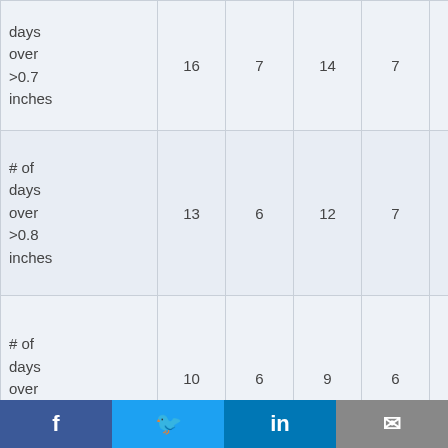| days over >0.7 inches | 16 | 7 | 14 | 7 | 13 | 13 |
| # of days over >0.8 inches | 13 | 6 | 12 | 7 | 12 | 10 |
| # of days over >0.9 | 10 | 6 | 9 | 6 | 10 | 9 |